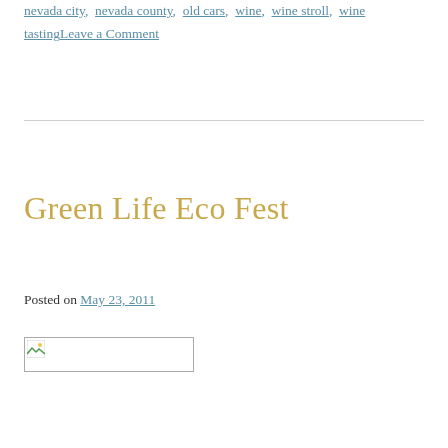nevada city, nevada county, old cars, wine, wine stroll, wine tastingLeave a Comment
Green Life Eco Fest
Posted on May 23, 2011
[Figure (photo): Broken image placeholder thumbnail]